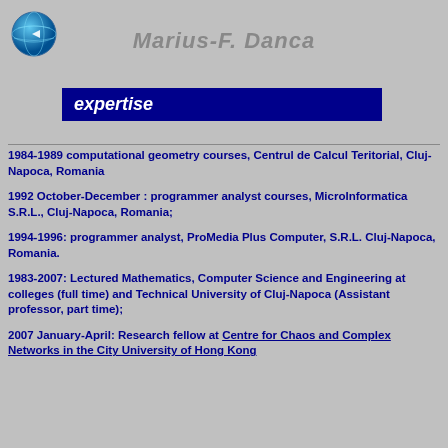[Figure (logo): Globe/earth logo icon in blue and teal]
Marius-F. Danca
expertise
1984-1989 computational geometry courses, Centrul de Calcul Teritorial, Cluj-Napoca, Romania
1992 October-December : programmer analyst courses, MicroInformatica S.R.L., Cluj-Napoca, Romania;
1994-1996: programmer analyst, ProMedia Plus Computer, S.R.L. Cluj-Napoca, Romania.
1983-2007: Lectured Mathematics, Computer Science and Engineering at colleges (full time) and Technical University of Cluj-Napoca (Assistant professor, part time);
2007 January-April: Research fellow at Centre for Chaos and Complex Networks in the City University of Hong Kong